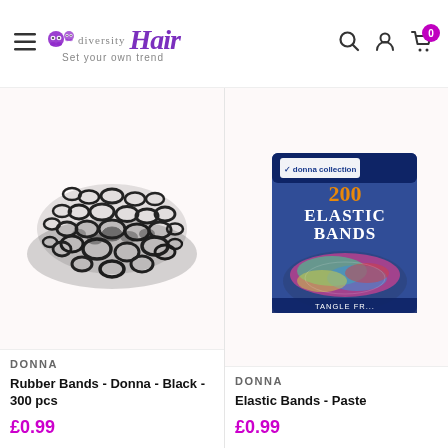[Figure (logo): Diversity Hair logo with skull decorations and tagline 'Set your own trend']
DONNA
Rubber Bands - Donna - Black - 300 pcs
£0.99
[Figure (photo): Pile of small black rubber bands]
[Figure (photo): Donna collection 200 Elastic Bands Pastel package]
DONNA
Elastic Bands - Paste
£0.99